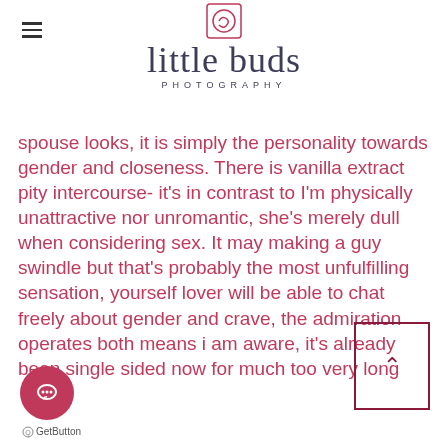[Figure (logo): Little Buds Photography logo with script text and circular icon]
spouse looks, it is simply the personality towards gender and closeness. There is vanilla extract pity intercourse- it's in contrast to I'm physically unattractive nor unromantic, she's merely dull when considering sex. It may making a guy swindle but that's probably the most unfulfilling sensation, yourself lover will be able to chat freely about gender and crave, the admiration operates both means i am aware, it's already been single sided now for much too very long